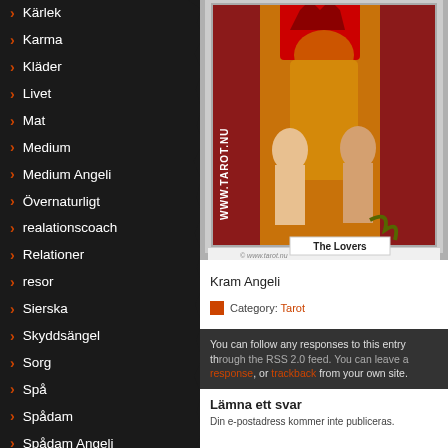Kärlek
Karma
Kläder
Livet
Mat
Medium
Medium Angeli
Övernaturligt
realationscoach
Relationer
resor
Sierska
Skyddsängel
Sorg
Spå
Spådam
Spådam Angeli
Spådam Blogg
Spådam Suss
Spådom
Spöken
[Figure (illustration): Tarot card illustration titled 'The Lovers' with watermark www.tarot.nu showing two figures with a crowned figure above them on a red and gold background]
Kram Angeli
Category: Tarot
You can follow any responses to this entry through the RSS 2.0 feed. You can leave a response, or trackback from your own site.
Lämna ett svar
Din e-postadress kommer inte publiceras.